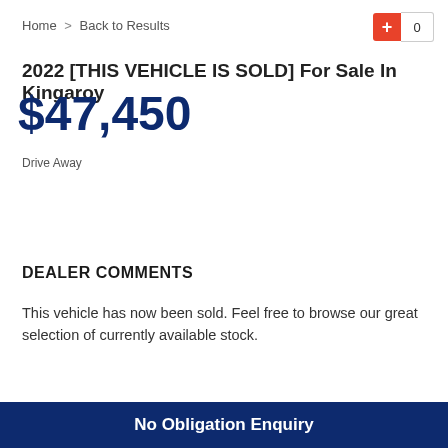Home > Back to Results
2022 [THIS VEHICLE IS SOLD] For Sale In Kingaroy
$47,450
Drive Away
DEALER COMMENTS
This vehicle has now been sold. Feel free to browse our great selection of currently available stock.
No Obligation Enquiry